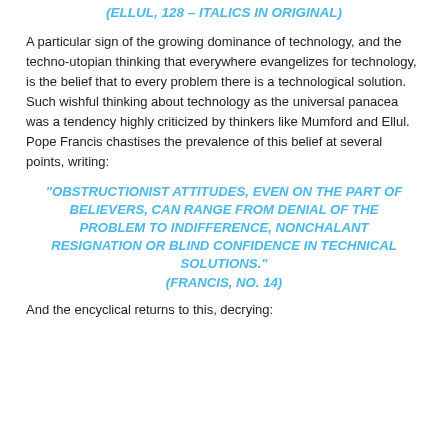(ELLUL, 128 – ITALICS IN ORIGINAL)
A particular sign of the growing dominance of technology, and the techno-utopian thinking that everywhere evangelizes for technology, is the belief that to every problem there is a technological solution. Such wishful thinking about technology as the universal panacea was a tendency highly criticized by thinkers like Mumford and Ellul. Pope Francis chastises the prevalence of this belief at several points, writing:
"OBSTRUCTIONIST ATTITUDES, EVEN ON THE PART OF BELIEVERS, CAN RANGE FROM DENIAL OF THE PROBLEM TO INDIFFERENCE, NONCHALANT RESIGNATION OR BLIND CONFIDENCE IN TECHNICAL SOLUTIONS." (FRANCIS, NO. 14)
And the encyclical returns to this, decrying: